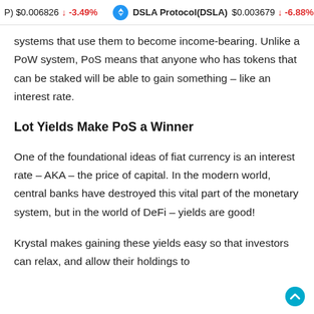P) $0.006826 ↓ -3.49% DSLA Protocol(DSLA) $0.003679 ↓ -6.88%
systems that use them to become income-bearing. Unlike a PoW system, PoS means that anyone who has tokens that can be staked will be able to gain something – like an interest rate.
Lot Yields Make PoS a Winner
One of the foundational ideas of fiat currency is an interest rate – AKA – the price of capital. In the modern world, central banks have destroyed this vital part of the monetary system, but in the world of DeFi – yields are good!
Krystal makes gaining these yields easy so that investors can relax, and allow their holdings to